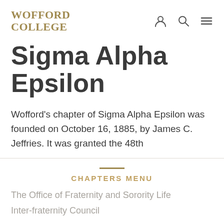WOFFORD COLLEGE
Sigma Alpha Epsilon
Wofford's chapter of Sigma Alpha Epsilon was founded on October 16, 1885, by James C. Jeffries. It was granted the 48th
CHAPTERS MENU
The Office of Fraternity and Sorority Life
Inter-fraternity Council